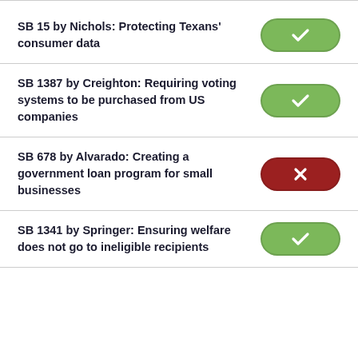SB 15 by Nichols: Protecting Texans' consumer data
SB 1387 by Creighton: Requiring voting systems to be purchased from US companies
SB 678 by Alvarado: Creating a government loan program for small businesses
SB 1341 by Springer: Ensuring welfare does not go to ineligible recipients